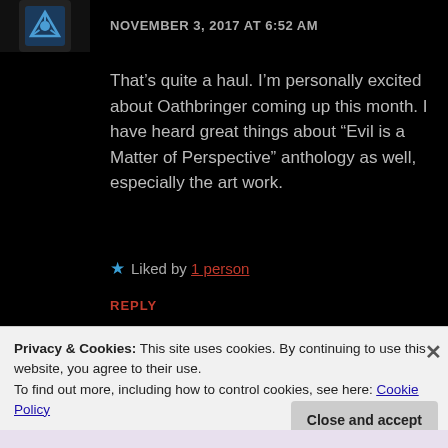NOVEMBER 3, 2017 AT 6:52 AM
That’s quite a haul. I’m personally excited about Oathbringer coming up this month. I have heard great things about “Evil is a Matter of Perspective” anthology as well, especially the art work.
★ Liked by 1 person
REPLY
Privacy & Cookies: This site uses cookies. By continuing to use this website, you agree to their use.
To find out more, including how to control cookies, see here: Cookie Policy